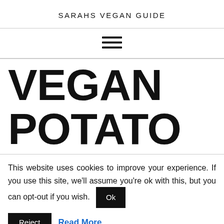SARAHS VEGAN GUIDE
[Figure (other): Hamburger menu icon (three horizontal lines)]
VEGAN POTATO
This website uses cookies to improve your experience. If you use this site, we'll assume you're ok with this, but you can opt-out if you wish. Ok
Reject Read More